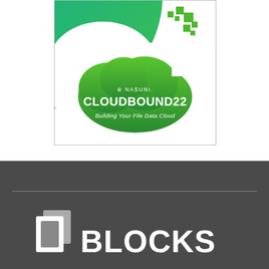[Figure (logo): Nasuni CloudBound22 event logo: green cloud shape with pixel squares, teal/green gradient background arc, white cloud shape, text 'NASUNI. CLOUDBOUND22 Building Your File Data Cloud']
[Figure (logo): BLOCKS logo: white cube/box icon on dark gray background with the word BLOCKS in large white bold text]